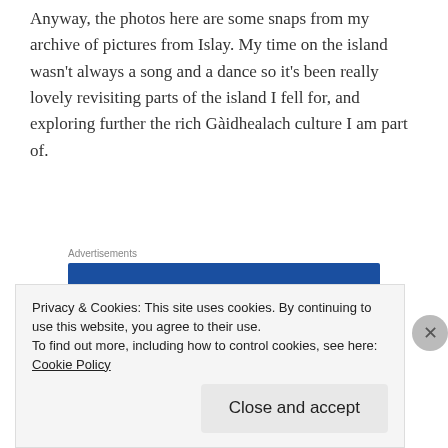Anyway, the photos here are some snaps from my archive of pictures from Islay. My time on the island wasn't always a song and a dance so it's been really lovely revisiting parts of the island I fell for, and exploring further the rich Gàidhealach culture I am part of.
[Figure (other): WordPress.com advertisement banner with 'Build Your Website' button on dark blue background]
For all of Kate's blog posts to date on the project see
Privacy & Cookies: This site uses cookies. By continuing to use this website, you agree to their use.
To find out more, including how to control cookies, see here: Cookie Policy
Close and accept